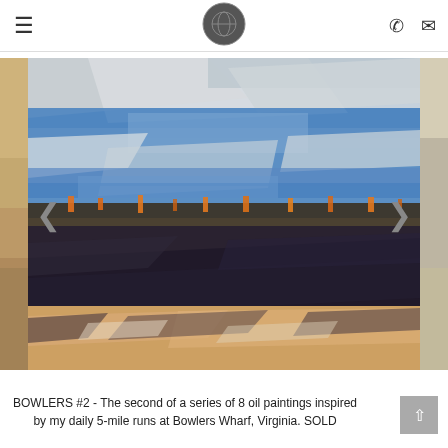Navigation header with hamburger menu, circular logo, phone icon, and email icon
[Figure (photo): Oil painting titled BOWLERS #2 - an expressive seascape with heavy impasto brushwork. Upper portion shows blue and white sky with thick textured strokes. Middle band shows orange and dark accents representing a distant shoreline or ships at Bowlers Wharf. Lower portion shows dark navy and sandy/peach tones with bold diagonal brushstrokes suggesting water or land.]
BOWLERS #2 - The second of a series of 8 oil paintings inspired by my daily 5-mile runs at Bowlers Wharf, Virginia. SOLD